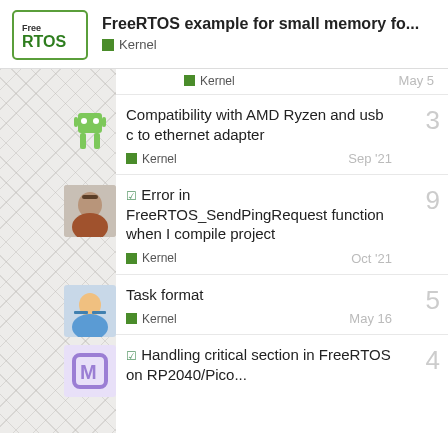FreeRTOS example for small memory fo...
Compatibility with AMD Ryzen and usb c to ethernet adapter | Kernel | Sep '21 | 3
☑ Error in FreeRTOS_SendPingRequest function when I compile project | Kernel | Oct '21 | 9
Task format | Kernel | May 16 | 5
☑ Handling critical section in FreeRTOS on RP2040/Pico...